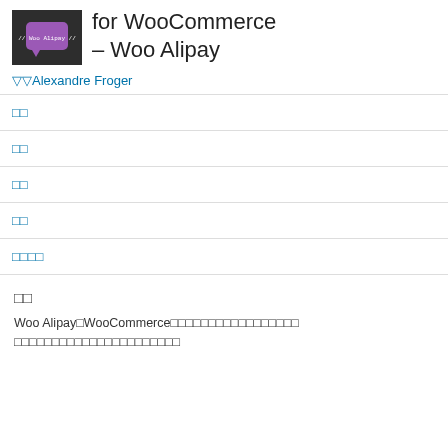[Figure (screenshot): Plugin icon for Woo Alipay — dark background with a purple speech bubble and white text '// Woo Alipay //']
for WooCommerce – Woo Alipay
Alexandre Froger
□□
□□
□□
□□
□□□□
□□
Woo Alipay□WooCommerce□□□□□□□□□□□□□□□□□□
□□□□□□□□□□□□□□□□□□□□□□□□□□